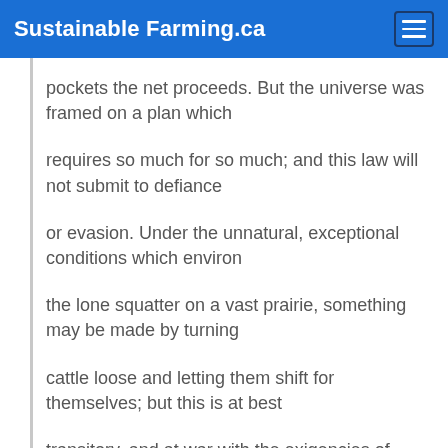Sustainable Farming.ca
pockets the net proceeds. But the universe was framed on a plan which
requires so much for so much; and this law will not submit to defiance
or evasion. Under the unnatural, exceptional conditions which environ
the lone squatter on a vast prairie, something may be made by turning
cattle loose and letting them shift for themselves; but this is at best
transitory, and at war with the exigencies of civilization. Whoever